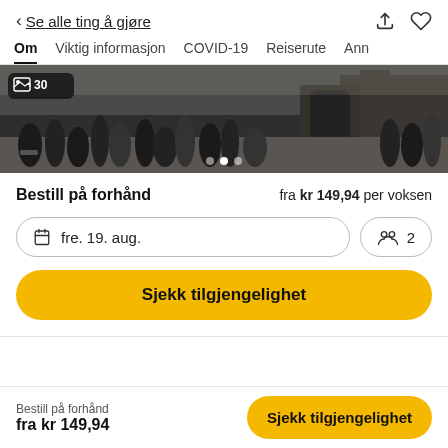< Se alle ting å gjøre
Om   Viktig informasjon   COVID-19   Reiserute   Ann
[Figure (photo): Crowd of tourists at an outdoor historical site, with a badge showing '30 photos']
Bestill på forhånd   fra kr 149,94 per voksen
fre. 19. aug.   2
Sjekk tilgjengelighet
Bestill på forhånd
fra kr 149,94
Sjekk tilgjengelighet